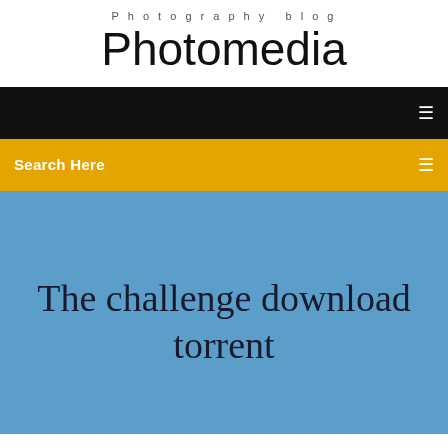Photography blog
Photomedia
Search Here
The challenge download torrent